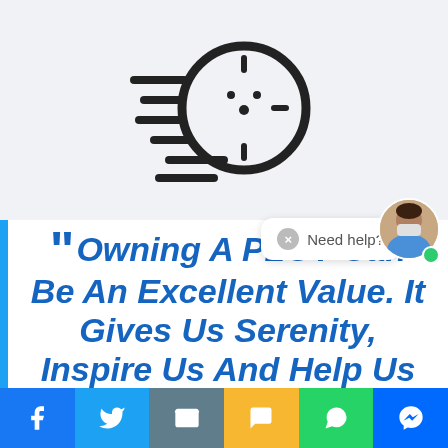[Figure (illustration): Line art icon of a clock with speed lines suggesting fast time, drawn in bold black strokes on a light gray background]
Need help?
"Owning A PLOT Can Be An Excellent Value. It Gives Us Serenity, Inspire Us And Help Us To
[Figure (other): Social media sharing bar at the bottom with icons for Facebook, Twitter, Email, SMS, WhatsApp, and Messenger]